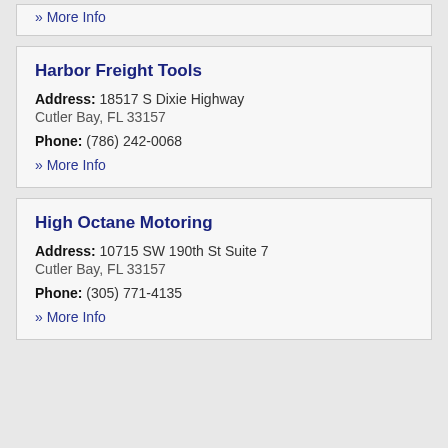» More Info
Harbor Freight Tools
Address: 18517 S Dixie Highway Cutler Bay, FL 33157
Phone: (786) 242-0068
» More Info
High Octane Motoring
Address: 10715 SW 190th St Suite 7 Cutler Bay, FL 33157
Phone: (305) 771-4135
» More Info